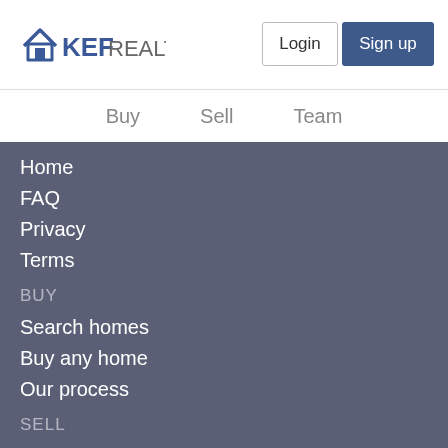[Figure (logo): KEF Realty logo with house roof icon]
Login
Sign up
Buy
Sell
Team
Home
FAQ
Privacy
Terms
BUY
Search homes
Buy any home
Our process
SELL
Home Valuation
Hire Us
CONTACT